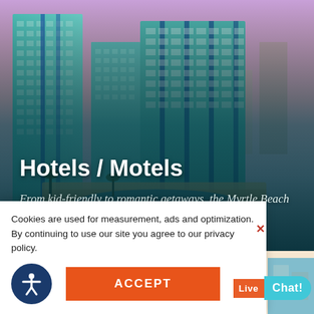[Figure (photo): Aerial/ground view of large glass-and-steel beachfront hotel towers at Myrtle Beach with a pink-purple sunset sky]
Hotels / Motels
From kid-friendly to romantic getaways, the Myrtle Beach area offers many options.... FIND
Cookies are used for measurement, ads and optimization. By continuing to use our site you agree to our privacy policy.
ACCEPT
Live Chat!